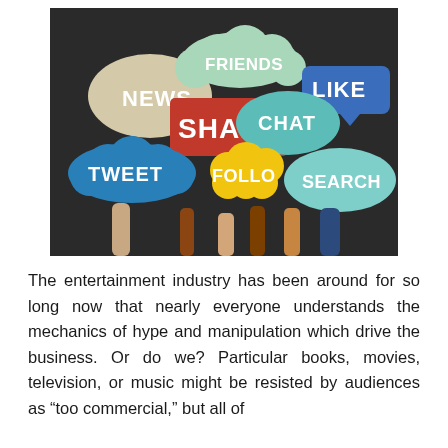[Figure (photo): Photo of multiple hands holding up speech bubble and sign cutouts with social media words: NEWS, FRIENDS, LIKE, SHARE, TWEET, CHAT, FOLLOW, SEARCH — on a dark background.]
The entertainment industry has been around for so long now that nearly everyone understands the mechanics of hype and manipulation which drive the business. Or do we? Particular books, movies, television, or music might be resisted by audiences as “too commercial,” but all of